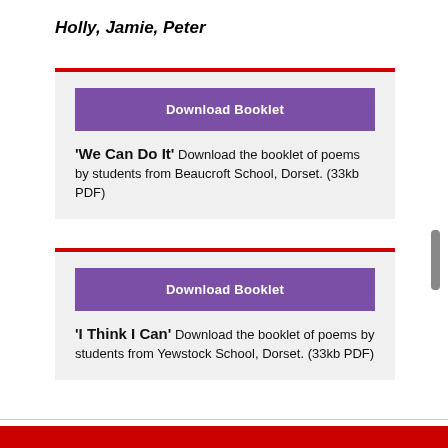Holly, Jamie, Peter
Download Booklet
'We Can Do It' Download the booklet of poems by students from Beaucroft School, Dorset. (33kb PDF)
Download Booklet
'I Think I Can' Download the booklet of poems by students from Yewstock School, Dorset. (33kb PDF)